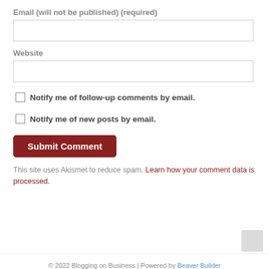Email (will not be published) (required)
Website
Notify me of follow-up comments by email.
Notify me of new posts by email.
Submit Comment
This site uses Akismet to reduce spam. Learn how your comment data is processed.
© 2022 Blogging on Business | Powered by Beaver Builder